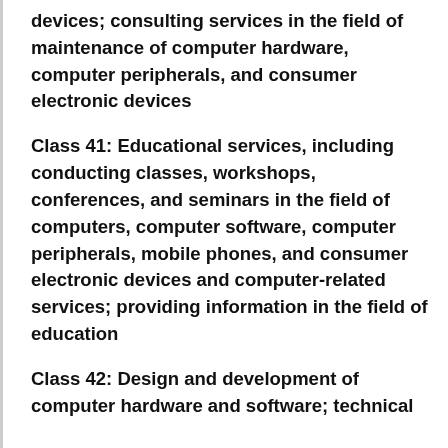devices; consulting services in the field of maintenance of computer hardware, computer peripherals, and consumer electronic devices
Class 41: Educational services, including conducting classes, workshops, conferences, and seminars in the field of computers, computer software, computer peripherals, mobile phones, and consumer electronic devices and computer-related services; providing information in the field of education
Class 42: Design and development of computer hardware and software; technical